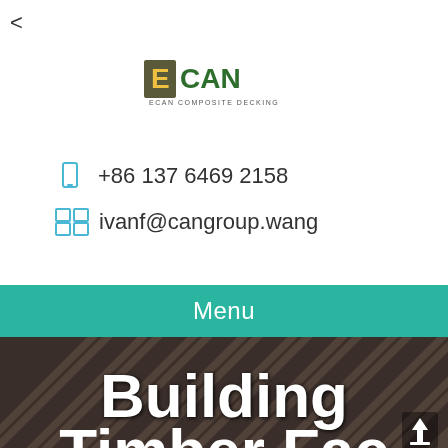<
[Figure (logo): ECAN logo - green E with CAN text and tagline 'ECAN COMPOSITE DECKING']
+86 137 6469 2158
ivanf@cangroup.wang
Menu
[Figure (photo): Dark brown diagonal wood/composite decking planks background image with 'Building Timber Eas...' text overlay in white bold font]